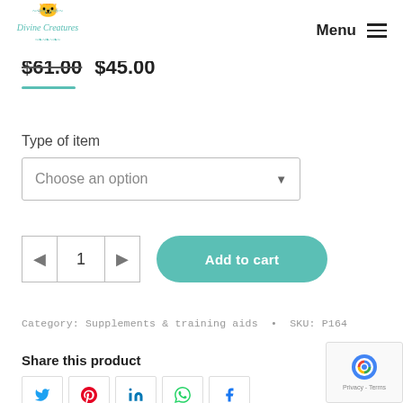Divine Creatures | Menu
$61.00  $45.00
Type of item
Choose an option
1  Add to cart
Category: Supplements & training aids  •  SKU: P164
Share this product
[Figure (other): Social share buttons: Twitter, Pinterest, LinkedIn, WhatsApp, Facebook]
[Figure (other): reCAPTCHA Privacy - Terms badge]